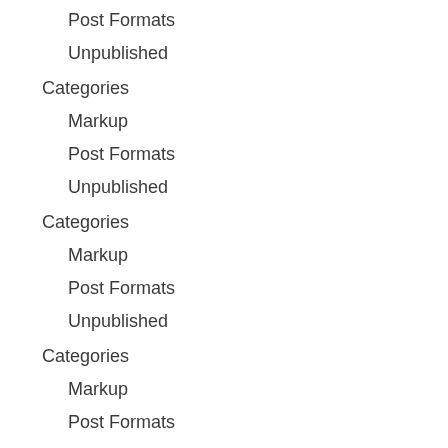Post Formats
Unpublished
Categories
Markup
Post Formats
Unpublished
Categories
Markup
Post Formats
Unpublished
Categories
Markup
Post Formats
Unpublished
Depth